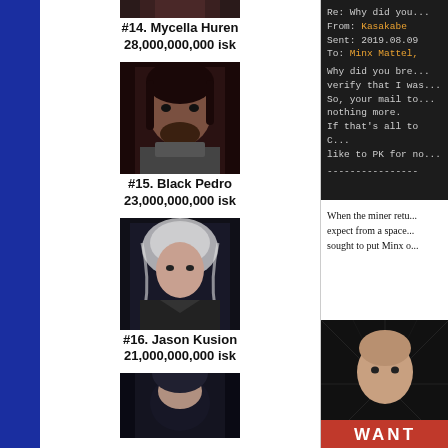[Figure (illustration): Avatar portrait of Mycella Huren (partial, top of image)]
#14. Mycella Huren
28,000,000,000 isk
[Figure (illustration): Avatar portrait of Black Pedro, dark-haired male character]
#15. Black Pedro
23,000,000,000 isk
[Figure (illustration): Avatar portrait of Jason Kusion, blonde white-haired character]
#16. Jason Kusion
21,000,000,000 isk
[Figure (illustration): Avatar portrait partially visible at bottom]
Re: Why did you...
From: Kasakabe
Sent: 2019.08.09
To: Minx Mattel,

Why did you bre...
verify that I was...
So, your mail to...
nothing more.
If that's all to C...
like to PK for no...

----------------
When the miner retu... expect from a space... sought to put Minx o...
[Figure (illustration): WANTED poster style image of a bald character, partial view]